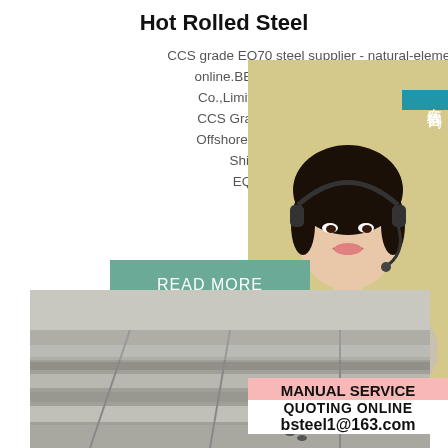Hot Rolled Steel
CCS grade EQ70 steel supplier - natural-elements-online.BBNSTEEL Steel( owned by BBNS Co.,Limited) is the most competitive man CCS Grade EQ70,CCSGrEQ70,CCS EQ Offshore Steel Plate in China.sp.infoImag Shipbuilding Steel Plate steels in EQ70|AB/EQ70|ABS Grade EQ7
[Figure (photo): Woman wearing headset, customer service representative]
READ MORE
在线咨询
MANUAL SERVICE
QUOTING ONLINE
bsteel1@163.com
[Figure (photo): Hot rolled steel plates stacked, grey metallic surface]